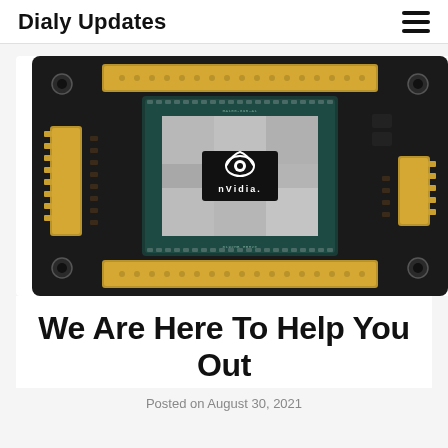Dialy Updates
[Figure (photo): NVIDIA GPU chip on a circuit board with gold connectors and HBM memory modules, showing the NVIDIA logo and eye symbol on the die]
We Are Here To Help You Out
Posted on August 30, 2021